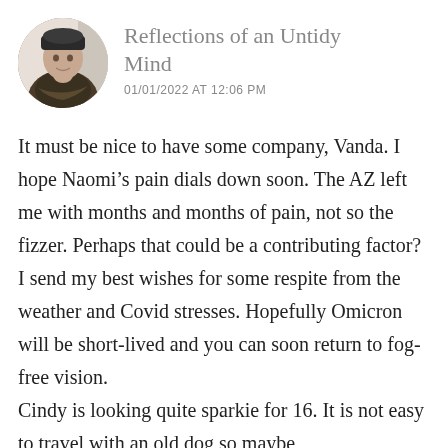[Figure (photo): Circular avatar photo of a person wearing a dark hat and scarf, with a light curtain background]
Reflections of an Untidy Mind
01/01/2022 AT 12:06 PM
It must be nice to have some company, Vanda. I hope Naomi’s pain dials down soon. The AZ left me with months and months of pain, not so the fizzer. Perhaps that could be a contributing factor? I send my best wishes for some respite from the weather and Covid stresses. Hopefully Omicron will be short-lived and you can soon return to fog-free vision.
Cindy is looking quite sparkie for 16. It is not easy to travel with an old dog so maybe